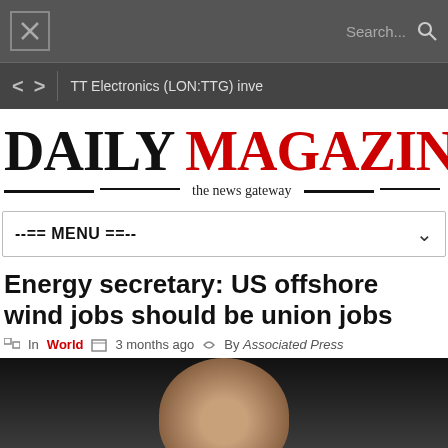Search...
TT Electronics (LON:TTG) inve
DAILY MAGAZINE — the news gateway
--== MENU ==--
Energy secretary: US offshore wind jobs should be union jobs
In World   3 months ago   By Associated Press
[Figure (photo): Close-up photo of a person's head against a dark background]